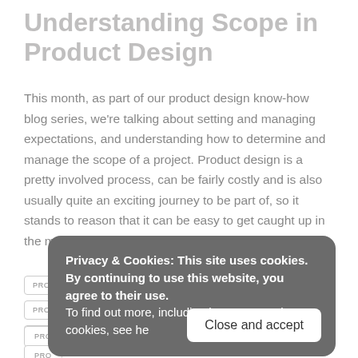Understanding Scope in Product Design
This month, as part of our product design know-how blog series, we're talking about setting and managing expectations, and understanding how to determine and manage the scope of a project. Product design is a pretty involved process, can be fairly costly and is also usually quite an exciting journey to be part of, so it stands to reason that it can be easy to get caught up in the moment.
Privacy & Cookies: This site uses cookies. By continuing to use this website, you agree to their use. To find out more, including how to control cookies, see he[re]
PRO...
PRO...
PRO...
PRODUCT DESIGN PARTNER
PRODUCT DESIGN PROCESS
PRO...